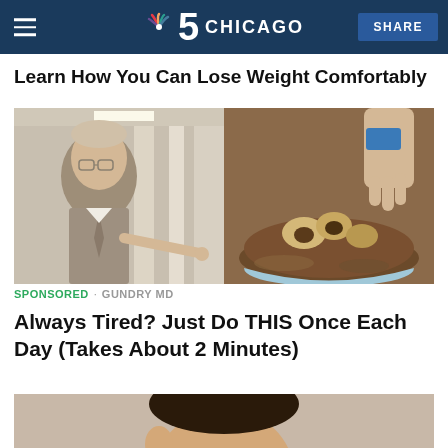NBC 5 Chicago | SHARE
Learn How You Can Lose Weight Comfortably
[Figure (photo): Split image: left side shows an older man in a suit and glasses pointing, standing in a hospital corridor; right side shows a hand placing food pieces into a bowl of chocolate mixture.]
SPONSORED · GUNDRY MD
Always Tired? Just Do THIS Once Each Day (Takes About 2 Minutes)
[Figure (photo): Partial view of a person's face, cropped at the bottom of the page.]